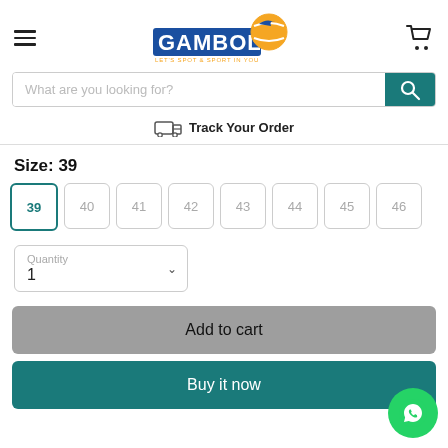[Figure (logo): Gambol sports brand logo with a tennis ball graphic and tagline 'LET'S SPOT & SPORT IN YOU']
What are you looking for?
Track Your Order
Size: 39
39 40 41 42 43 44 45 46
Quantity
1
Add to cart
Buy it now